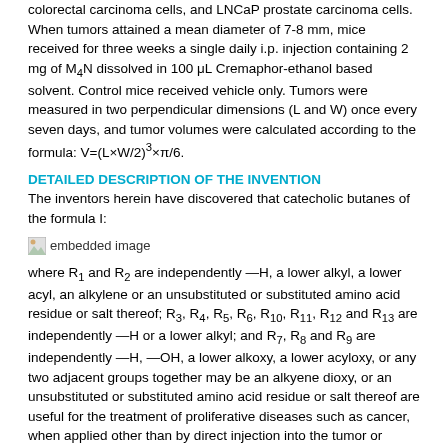colorectal carcinoma cells, and LNCaP prostate carcinoma cells. When tumors attained a mean diameter of 7-8 mm, mice received for three weeks a single daily i.p. injection containing 2 mg of M4N dissolved in 100 μL Cremaphor-ethanol based solvent. Control mice received vehicle only. Tumors were measured in two perpendicular dimensions (L and W) once every seven days, and tumor volumes were calculated according to the formula: V=(L×W/2)³×π/6.
DETAILED DESCRIPTION OF THE INVENTION
The inventors herein have discovered that catecholic butanes of the formula I:
[Figure (other): embedded image placeholder showing a chemical structure]
where R1 and R2 are independently —H, a lower alkyl, a lower acyl, an alkylene or an unsubstituted or substituted amino acid residue or salt thereof; R3, R4, R5, R6, R10, R11, R12 and R13 are independently —H or a lower alkyl; and R7, R8 and R9 are independently —H, —OH, a lower alkoxy, a lower acyloxy, or any two adjacent groups together may be an alkyene dioxy, or an unsubstituted or substituted amino acid residue or salt thereof are useful for the treatment of proliferative diseases such as cancer, when applied other than by direct injection into the tumor or topically onto the situs of the tumor. Such catecholic butanes can be combined with pharmaceutically acceptable carrier or excipient to produce pharmaceutical